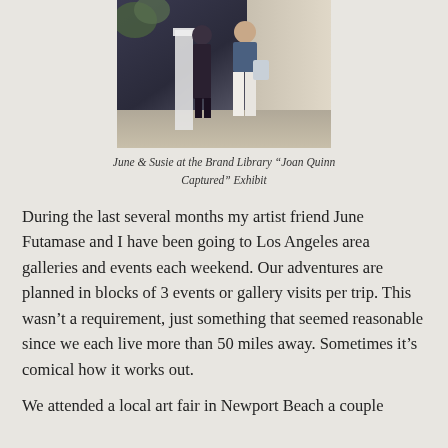[Figure (photo): Photo of two women standing outside near steps, partially cropped at top. Appears to be at the Brand Library.]
June & Susie at the Brand Library "Joan Quinn Captured" Exhibit
During the last several months my artist friend June Futamase and I have been going to Los Angeles area galleries and events each weekend. Our adventures are planned in blocks of 3 events or gallery visits per trip. This wasn't a requirement, just something that seemed reasonable since we each live more than 50 miles away. Sometimes it's comical how it works out.
We attended a local art fair in Newport Beach a couple